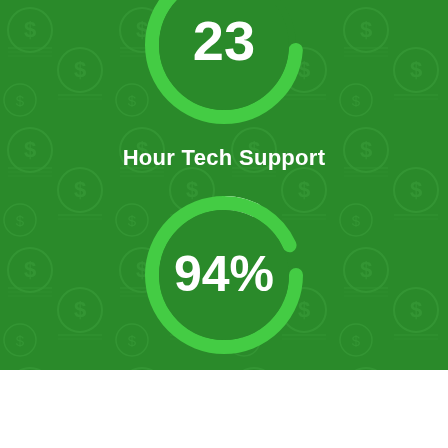[Figure (donut-chart): Circular ring gauge showing '23' in center, mostly filled green arc with small white gap, labeled 'Hour Tech Support']
[Figure (donut-chart): Circular ring gauge showing '94%' in center, mostly filled green arc with small white gap, labeled 'Money Back Guarantee']